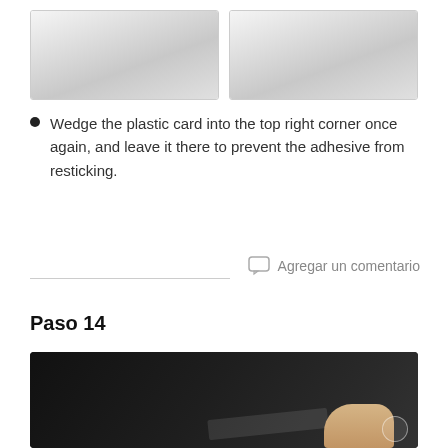[Figure (photo): Two images side by side showing hands using a plastic card tool on a device]
Wedge the plastic card into the top right corner once again, and leave it there to prevent the adhesive from resticking.
Agregar un comentario
Paso 14
[Figure (photo): Hands using a plastic card to separate a dark panel or screen from a device]